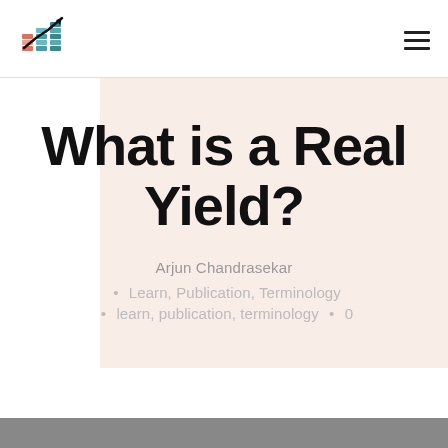What is a Real Yield?
Arjun Chandrasekar
Learn, Publication, Terminology
learn, publication, terminology  •  0